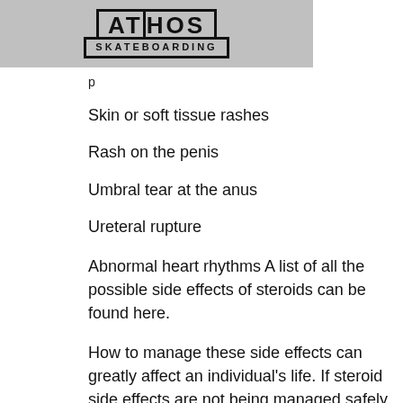[Figure (logo): Athos Skateboarding logo on grey banner background]
Skin or soft tissue rashes
Rash on the penis
Umbral tear at the anus
Ureteral rupture
Abnormal heart rhythms A list of all the possible side effects of steroids can be found here.
How to manage these side effects can greatly affect an individual's life. If steroid side effects are not being managed safely, an individual may find it more difficult to achieve the health changes they desire. If